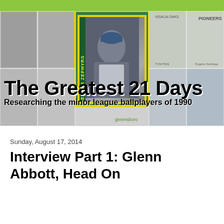[Figure (illustration): Banner image showing a collage of minor league baseball cards from 1990 with a central Denver Zephyrs card highlighted in green and yellow border. Overlaid with bold title text 'The Greatest 21 Days' and subtitle 'Researching the minor league ballplayers of 1990'.]
Sunday, August 17, 2014
Interview Part 1: Glenn Abbott, Head On